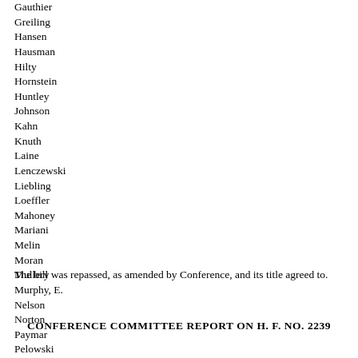Gauthier
Greiling
Hansen
Hausman
Hilty
Hornstein
Huntley
Johnson
Kahn
Knuth
Laine
Lenczewski
Liebling
Loeffler
Mahoney
Mariani
Melin
Moran
Mullery
Murphy, E.
Nelson
Norton
Paymar
Pelowski
Rukavina
Scalze
Slawik
Slocum
Thissen
Tillberry
Wagenius
Winkler
The bill was repassed, as amended by Conference, and its title agreed to.
CONFERENCE COMMITTEE REPORT ON H. F. NO. 2239